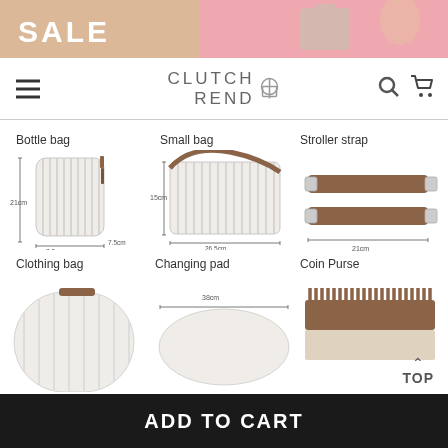[Figure (photo): Sale banner with pink background, woman holding bag, text SALE]
CLUTCH REND (logo with bag icon, search and cart icons)
Bottle bag
[Figure (photo): Bottle bag product image with measurements: 21cm height, 7.5cm width, 7.5cm depth]
Small bag
[Figure (photo): Small bag product image with measurements: 15cm height, 26.5cm width]
Stroller strap
[Figure (photo): Stroller strap product image with measurement: 21cm]
Clothing bag
[Figure (photo): Clothing bag product image (partially visible)]
Changing pad
[Figure (photo): Changing pad product image with measurement: 38cm (partially visible)]
Coin Purse
[Figure (photo): Coin purse product image (partially visible)]
TOP